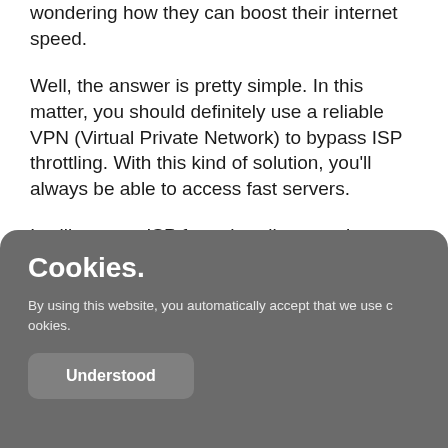wondering how they can boost their internet speed.
Well, the answer is pretty simple. In this matter, you should definitely use a reliable VPN (Virtual Private Network) to bypass ISP throttling. With this kind of solution, you'll always be able to access fast servers.
It will prevent ISP from throttling your Internet connection, regardless of the site
Cookies.
By using this website, you automatically accept that we use cookies.
Understood